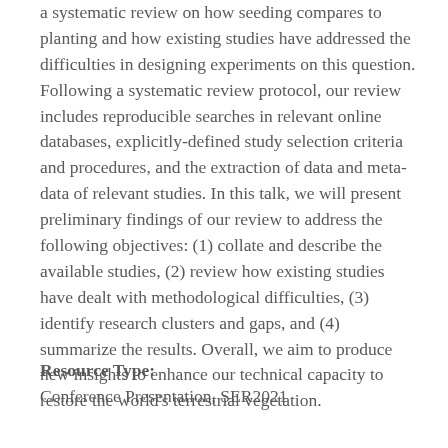a systematic review on how seeding compares to planting and how existing studies have addressed the difficulties in designing experiments on this question. Following a systematic review protocol, our review includes reproducible searches in relevant online databases, explicitly-defined study selection criteria and procedures, and the extraction of data and meta-data of relevant studies. In this talk, we will present preliminary findings of our review to address the following objectives: (1) collate and describe the available studies, (2) review how existing studies have dealt with methodological difficulties, (3) identify research clusters and gaps, and (4) summarize the results. Overall, we aim to produce new insights to enhance our technical capacity to restore the world's terrestrial vegetation.
Resource Type:
Conference Presentation, SER2021